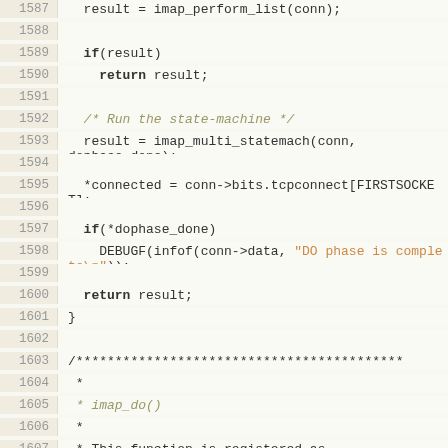Code listing lines 1587-1607, C source code showing imap list and state machine operations
[Figure (screenshot): Source code viewer showing C code lines 1587-1607 with line numbers in beige column and code in off-white area. Code includes imap_perform_list, imap_multi_statemach, DEBUGF calls with orange string literals, and start of block comment for imap_do() function.]